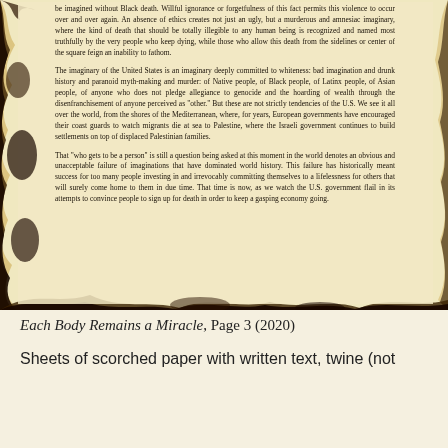[Figure (photo): A photograph of a scorched sheet of paper with printed text, burned around the edges with dark char marks. The paper has a torn, irregular burned border especially on the left and bottom edges. The text on the paper discusses the imaginary of the United States, violence, whiteness, and global failures of imagination.]
be imagined without Black death. Willful ignorance or forgetfulness of this fact permits this violence to occur over and over again. An absence of ethics creates not just an ugly, but a murderous and amnesiac imaginary, where the kind of death that should be totally illegible to any human being is recognized and named most truthfully by the very people who keep dying, while those who allow this death from the sidelines or center of the square feign an inability to fathom.
The imaginary of the United States is an imaginary deeply committed to whiteness: bad imagination and drunk history and paranoid myth-making and murder: of Native people, of Black people, of Latinx people, of Asian people, of anyone who does not pledge allegiance to genocide and the hoarding of wealth through the disenfranchisement of anyone perceived as "other." But these are not strictly tendencies of the U.S. We see it all over the world, from the shores of the Mediterranean, where, for years, European governments have encouraged their coast guards to watch migrants die at sea to Palestine, where the Israeli government continues to build settlements on top of displaced Palestinian families.
That "who gets to be a person" is still a question being asked at this moment in the world denotes an obvious and unacceptable failure of imaginations that have dominated world history. This failure has historically meant success for too many people investing in and irrevocably committing themselves to a lifelessness for others that will surely come home to them in due time. That time is now, as we watch the U.S. government flail in its attempts to convince people to sign up for death in order to keep a gasping economy going.
Each Body Remains a Miracle, Page 3 (2020)
Sheets of scorched paper with written text, twine (not